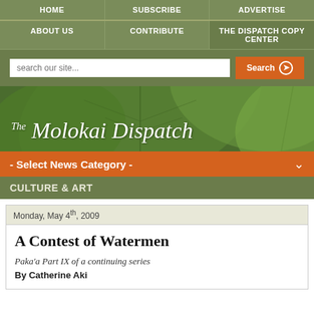HOME | SUBSCRIBE | ADVERTISE
ABOUT US | CONTRIBUTE | THE DISPATCH COPY CENTER
[Figure (logo): The Molokai Dispatch newspaper banner with green leaf background]
- Select News Category -
CULTURE & ART
Monday, May 4th, 2009
A Contest of Watermen
Paka'a Part IX of a continuing series
By Catherine Aki